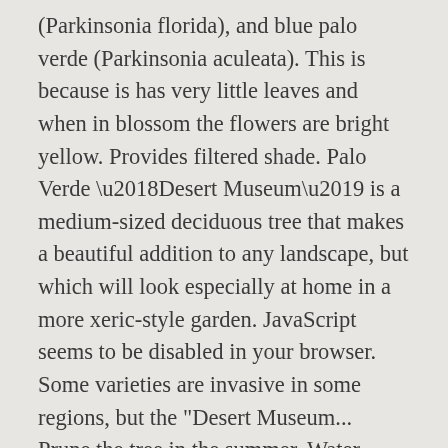(Parkinsonia florida), and blue palo verde (Parkinsonia aculeata). This is because is has very little leaves and when in blossom the flowers are bright yellow. Provides filtered shade. Palo Verde ‘Desert Museum’ is a medium-sized deciduous tree that makes a beautiful addition to any landscape, but which will look especially at home in a more xeric-style garden. JavaScript seems to be disabled in your browser. Some varieties are invasive in some regions, but the "Desert Museum... Prune the tree in the summer. Water regularly and deeply during the first growing season to establish an extensive root system. Desert Museum palo verde trees are a